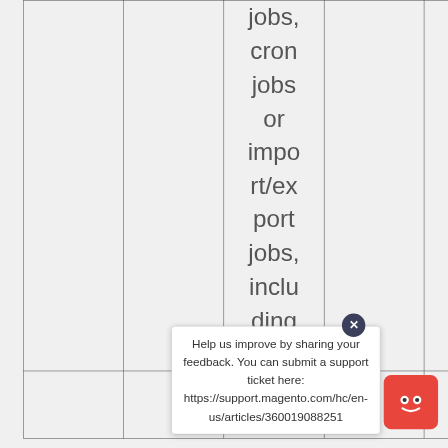|  |  | jobs, cron jobs or import/ex port jobs, inclu ding third- |  |
|  |  | to New |  |
Help us improve by sharing your feedback. You can submit a support ticket here: https://support.magento.com/hc/en-us/articles/360019088251